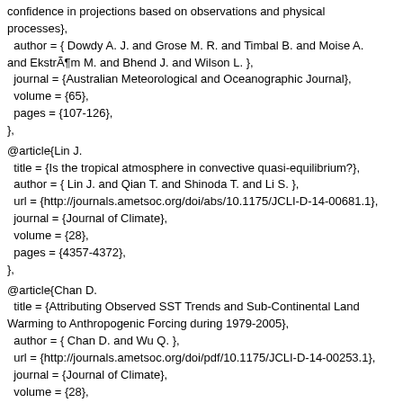confidence in projections based on observations and physical
processes},
  author = { Dowdy A. J. and Grose M. R. and Timbal B. and Moise A.
and EkstrÃ¶m M. and Bhend J. and Wilson L. },
  journal = {Australian Meteorological and Oceanographic Journal},
  volume = {65},
  pages = {107-126},
},
@article{Lin J.
  title = {Is the tropical atmosphere in convective quasi-equilibrium?},
  author = { Lin J. and Qian T. and Shinoda T. and Li S. },
  url = {http://journals.ametsoc.org/doi/abs/10.1175/JCLI-D-14-00681.1},
  journal = {Journal of Climate},
  volume = {28},
  pages = {4357-4372},
},
@article{Chan D.
  title = {Attributing Observed SST Trends and Sub-Continental Land
Warming to Anthropogenic Forcing during 1979-2005},
  author = { Chan D. and Wu Q. },
  url = {http://journals.ametsoc.org/doi/pdf/10.1175/JCLI-D-14-00253.1},
  journal = {Journal of Climate},
  volume = {28},